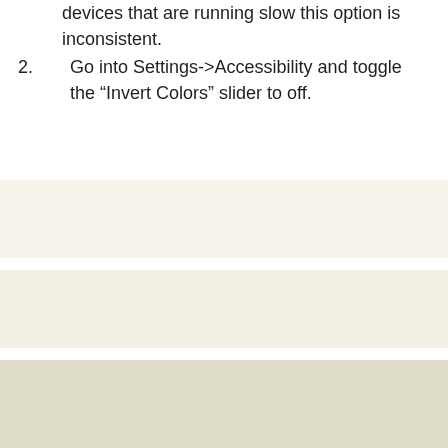devices that are running slow this option is inconsistent.
2. Go into Settings->Accessibility and toggle the “Invert Colors” slider to off.